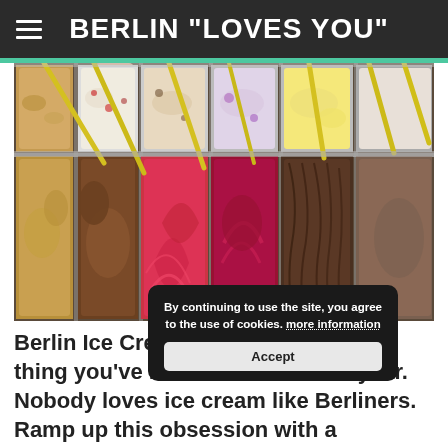BERLIN "LOVES YOU"
[Figure (photo): Display case of colorful gelato ice cream flavors in metal trays with yellow serving spades — chocolate, strawberry, raspberry, vanilla, and other varieties visible from above]
By continuing to use the site, you agree to the use of cookies. more information
Accept
Berlin Ice Cream 2. and it's the first thing you've look forward to in a year. Nobody loves ice cream like Berliners. Ramp up this obsession with a